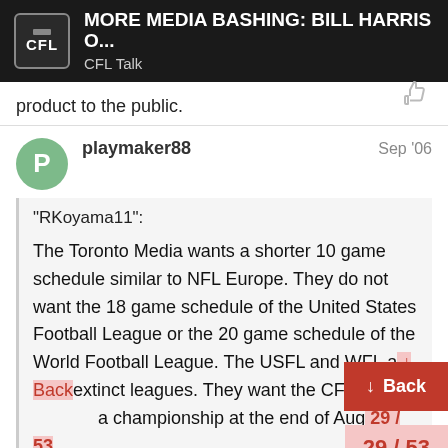MORE MEDIA BASHING: BILL HARRIS O... CFL Talk
product to the public.
playmaker88  Sep '06
"RKoyama11":

The Toronto Media wants a shorter 10 game schedule similar to NFL Europe. They do not want the 18 game schedule of the United States Football League or the 20 game schedule of the World Football League. The USFL and WFL a[re] extinct leagues. They want the CFL th[at] [ends] with a championship at the end of Aug[ust]
Back
29 / 53